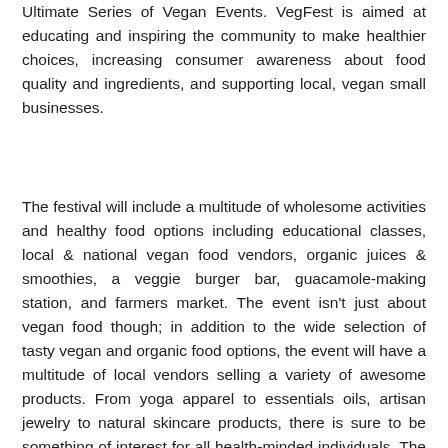Ultimate Series of Vegan Events. VegFest is aimed at educating and inspiring the community to make healthier choices, increasing consumer awareness about food quality and ingredients, and supporting local, vegan small businesses.
The festival will include a multitude of wholesome activities and healthy food options including educational classes, local & national vegan food vendors, organic juices & smoothies, a veggie burger bar, guacamole-making station, and farmers market. The event isn't just about vegan food though; in addition to the wide selection of tasty vegan and organic food options, the event will have a multitude of local vendors selling a variety of awesome products. From yoga apparel to essentials oils, artisan jewelry to natural skincare products, there is sure to be something of interest for all health-minded individuals. The event will also include a host of fun lawn games as well as some incredible live musical entertainment, making it the perfect way to spend a beautiful Saturday afternoon connecting with the community.